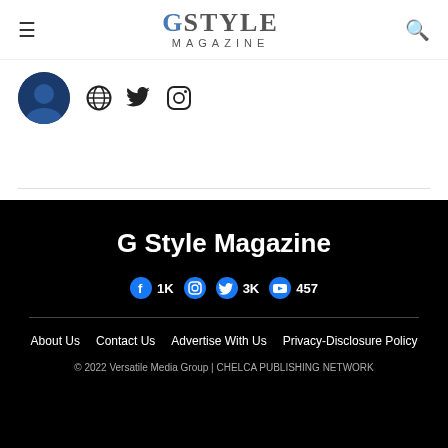G STYLE MAGAZINE
[Figure (logo): Circular avatar/profile photo with dark blue background, partly cropped]
[Figure (illustration): Social icons: globe/web, Twitter, Instagram]
G Style Magazine
Facebook 1K  Instagram  Twitter 3K  YouTube 457
About Us   Contact Us   Advertise With Us   Privacy-Disclosure Policy
© 2022 Versatile Media Group | CHELCA PUBLISHING NETWORK